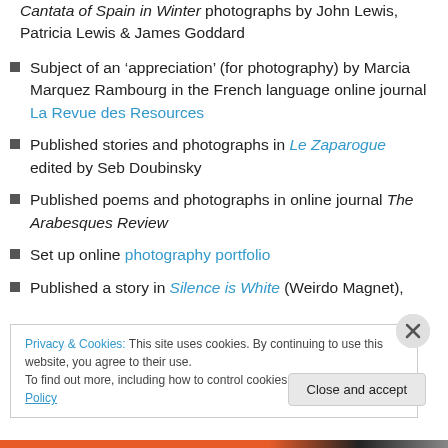Cantata of Spain in Winter photographs by John Lewis, Patricia Lewis & James Goddard
Subject of an 'appreciation' (for photography) by Marcia Marquez Rambourg in the French language online journal La Revue des Resources
Published stories and photographs in Le Zaparogue edited by Seb Doubinsky
Published poems and photographs in online journal The Arabesques Review
Set up online photography portfolio
Published a story in Silence is White (Weirdo Magnet),
Privacy & Cookies: This site uses cookies. By continuing to use this website, you agree to their use.
To find out more, including how to control cookies, see here: Cookie Policy